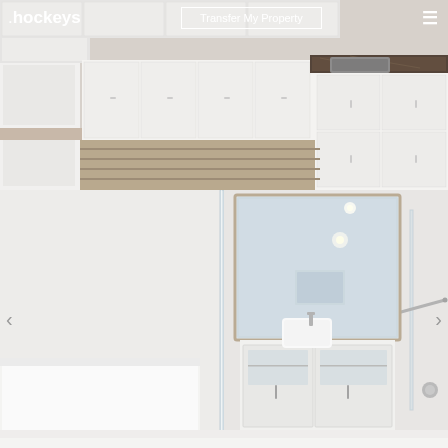[Figure (photo): Kitchen interior with white cabinetry and dark marble countertop, L-shaped layout with stainless steel sink]
[Figure (photo): Modern bathroom interior with glass shower screen, white vanity with vessel sink, mirror, and bathtub]
.hockeys  Transfer My Property  ≡